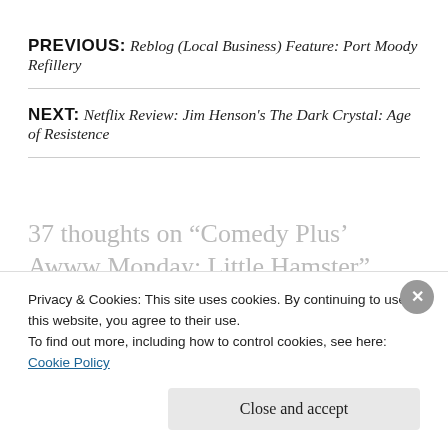PREVIOUS: Reblog (Local Business) Feature: Port Moody Refillery
NEXT: Netflix Review: Jim Henson's The Dark Crystal: Age of Resistence
37 thoughts on “Comedy Plus’ Awww Monday: Little Hamster”
Privacy & Cookies: This site uses cookies. By continuing to use this website, you agree to their use.
To find out more, including how to control cookies, see here: Cookie Policy